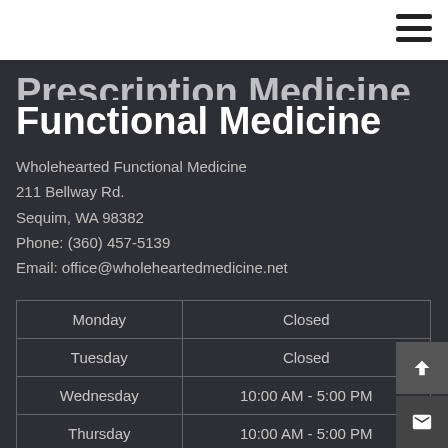Wholehearted Functional Medicine — navigation bar
Functional Medicine
Wholehearted Functional Medicine
211 Bellway Rd.
Sequim, WA 98382
Phone: (360) 457-5139
Email: office@wholeheartedmedicine.net
| Day | Hours |
| --- | --- |
| Monday | Closed |
| Tuesday | Closed |
| Wednesday | 10:00 AM - 5:00 PM |
| Thursday | 10:00 AM - 5:00 PM |
| Friday | 10:00 AM - 5:00 PM |
| Saturday | Closed |